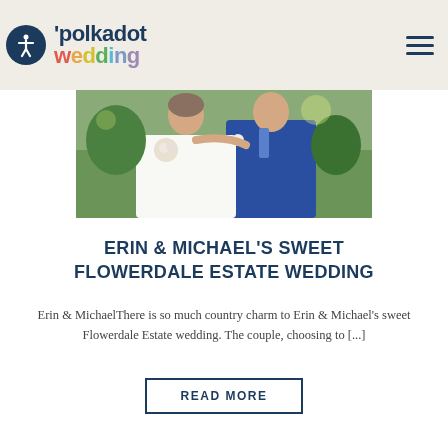polkadot wedding
[Figure (photo): Wedding couple photo – bride in white and groom in blue suit embracing outdoors]
ERIN & MICHAEL'S SWEET FLOWERDALE ESTATE WEDDING
Erin & MichaelThere is so much country charm to Erin & Michael's sweet Flowerdale Estate wedding. The couple, choosing to [...]
READ MORE